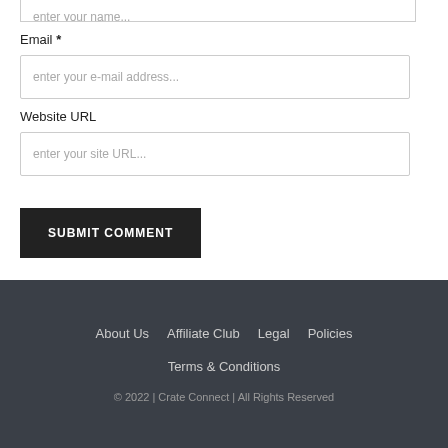enter your name...
Email *
enter your e-mail address...
Website URL
enter your site URL...
SUBMIT COMMENT
back to top
About Us   Affiliate Club   Legal   Policies
Terms & Conditions
© 2022 | Crate Connect | All Rights Reserved